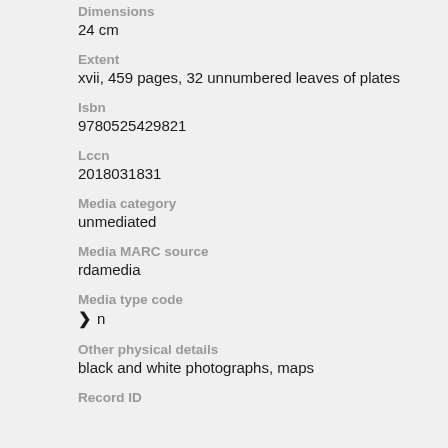Dimensions
24 cm
Extent
xvii, 459 pages, 32 unnumbered leaves of plates
Isbn
9780525429821
Lccn
2018031831
Media category
unmediated
Media MARC source
rdamedia
Media type code
❯ n
Other physical details
black and white photographs, maps
Record ID